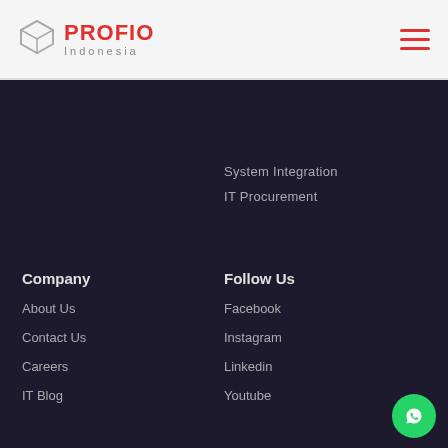[Figure (logo): Profio Indonesia logo with box icon and red PROFIO text]
System Integration
IT Procurement
Company
Follow Us
About Us
Facebook
Contact Us
Instagram
Careers
Linkedin
IT Blog
Youtube
Address: 22 Taman Asoka III Street, Garden Dian Regency, Waru, Sidoarjo, East Java, 61256
Phone: (031) 99687829 | Email: info@profio.co.id